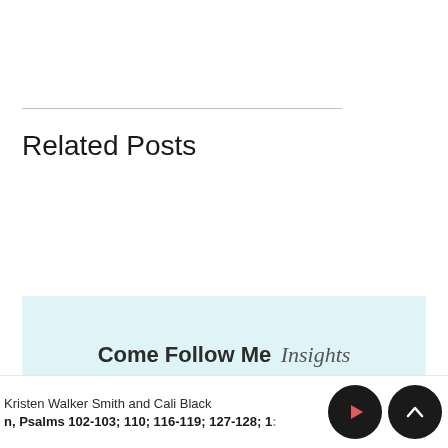Related Posts
[Figure (other): Come Follow Me Insights podcast card with light blue background]
Kristen Walker Smith and Cali Black
n, Psalms 102-103; 110; 116-119; 127-128; 13